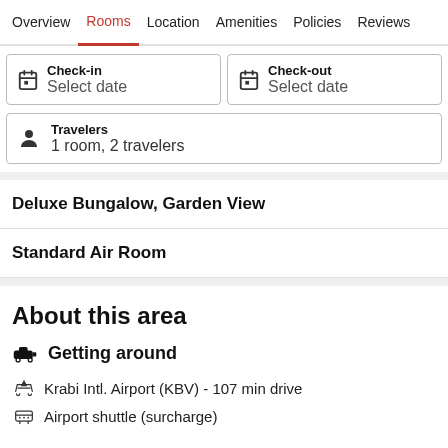Overview | Rooms | Location | Amenities | Policies | Reviews
Check-in — Select date
Check-out — Select date
Travelers — 1 room, 2 travelers
Deluxe Bungalow, Garden View
Standard Air Room
About this area
Getting around
Krabi Intl. Airport (KBV) - 107 min drive
Airport shuttle (surcharge)